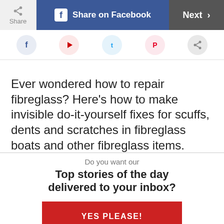[Figure (screenshot): Top navigation bar with Share button, Share on Facebook button (blue), and Next button (dark grey)]
[Figure (screenshot): Social media icon circles row: Facebook (blue), YouTube (red), Twitter (blue), Pinterest (red), Share (grey)]
Ever wondered how to repair fibreglass? Here's how to make invisible do-it-yourself fixes for scuffs, dents and scratches in fibreglass boats and other fibreglass items.
Do you want our
Top stories of the day delivered to your inbox?
YES PLEASE!
NO THANKS